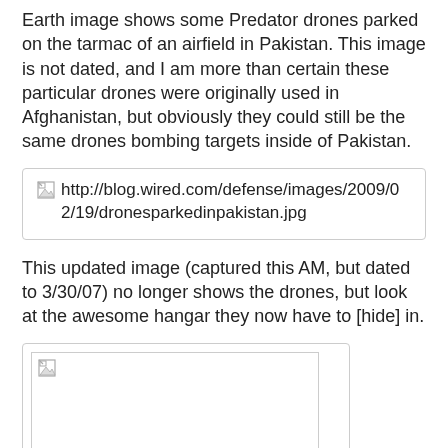Earth image shows some Predator drones parked on the tarmac of an airfield in Pakistan. This image is not dated, and I am more than certain these particular drones were originally used in Afghanistan, but obviously they could still be the same drones bombing targets inside of Pakistan.
[Figure (photo): Broken image placeholder showing URL: http://blog.wired.com/defense/images/2009/02/19/dronesparkedinpakistan.jpg]
This updated image (captured this AM, but dated to 3/30/07) no longer shows the drones, but look at the awesome hangar they now have to [hide] in.
[Figure (photo): Broken image placeholder showing a second aerial/satellite image, inner bordered box with broken image icon in top-left corner.]